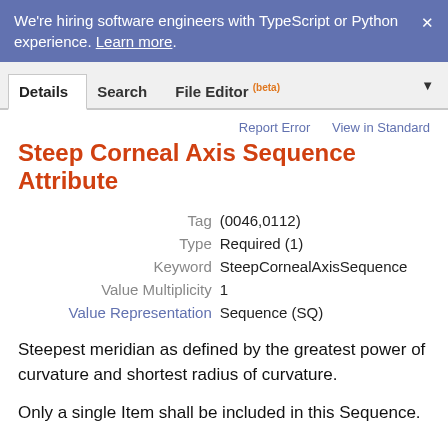We're hiring software engineers with TypeScript or Python experience. Learn more.
Details   Search   File Editor (beta)
Report Error   View in Standard
Steep Corneal Axis Sequence Attribute
| Label | Value |
| --- | --- |
| Tag | (0046,0112) |
| Type | Required (1) |
| Keyword | SteepCornealAxisSequence |
| Value Multiplicity | 1 |
| Value Representation | Sequence (SQ) |
Steepest meridian as defined by the greatest power of curvature and shortest radius of curvature.
Only a single Item shall be included in this Sequence.